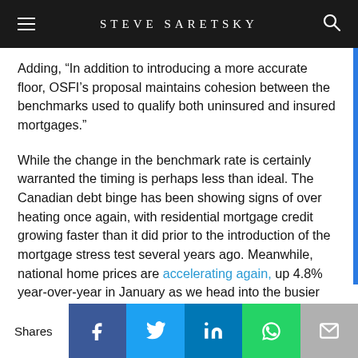STEVE SARETSKY
Adding, “In addition to introducing a more accurate floor, OSFI’s proposal maintains cohesion between the benchmarks used to qualify both uninsured and insured mortgages.”
While the change in the benchmark rate is certainly warranted the timing is perhaps less than ideal. The Canadian debt binge has been showing signs of over heating once again, with residential mortgage credit growing faster than it did prior to the introduction of the mortgage stress test several years ago. Meanwhile, national home prices are accelerating again, up 4.8% year-over-year in January as we head into the busier spring market. Party on!
Shares